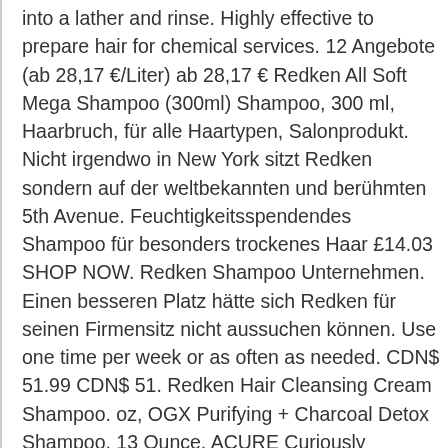into a lather and rinse. Highly effective to prepare hair for chemical services. 12 Angebote (ab 28,17 €/Liter) ab 28,17 € Redken All Soft Mega Shampoo (300ml) Shampoo, 300 ml, Haarbruch, für alle Haartypen, Salonprodukt. Nicht irgendwo in New York sitzt Redken sondern auf der weltbekannten und berühmten 5th Avenue. Feuchtigkeitsspendendes Shampoo für besonders trockenes Haar £14.03 SHOP NOW. Redken Shampoo Unternehmen. Einen besseren Platz hätte sich Redken für seinen Firmensitz nicht aussuchen können. Use one time per week or as often as needed. CDN$ 51.99 CDN$ 51. Redken Hair Cleansing Cream Shampoo. oz, OGX Purifying + Charcoal Detox Shampoo, 13 Ounce, ACURE Curiously Clarifying Shampoo - Lemongrass & Argan | 100% Vegan | Performance Driven Hair Care | Gently Cleanses, Removes Buildup, Boost Shine &